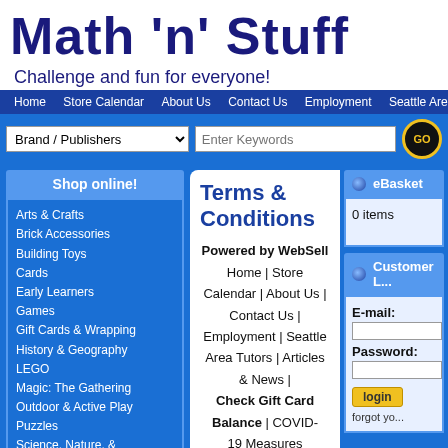Math 'n' Stuff
Challenge and fun for everyone!
Home | Store Calendar | About Us | Contact Us | Employment | Seattle Area Tu...
Brand / Publishers [dropdown]   Enter Keywords   GO
Shop online!
Arts & Crafts
Brick Accessories
Building Toys
Cards
Early Learners
Games
Gift Cards & Wrapping
History & Geography
LEGO
Magic: The Gathering
Outdoor & Active Play
Puzzles
Science, Nature, & Technology
Toys
Search Math 'n' Stuff Online
Use keywords to find the product you are looking for.
Terms & Conditions
Powered by WebSell
Home | Store Calendar | About Us | Contact Us | Employment | Seattle Area Tutors | Articles & News | Check Gift Card Balance | COVID-19 Measures
eBasket
0 items
Customer L...
E-mail:
Password:
login
forgot yo...